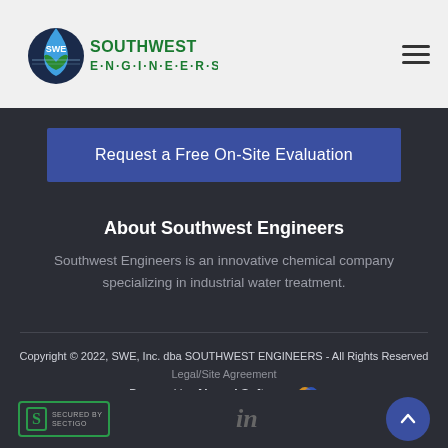[Figure (logo): Southwest Engineers logo with SWE water drop icon and green text]
Request a Free On-Site Evaluation
About Southwest Engineers
Southwest Engineers is an innovative chemical company specializing in industrial water treatment.
Copyright © 2022, SWE, Inc. dba SOUTHWEST ENGINEERS - All Rights Reserved
Legal/Site Agreement
Powered by Aboard Software
[Figure (logo): Sectigo security badge]
[Figure (logo): LinkedIn icon]
[Figure (other): Scroll to top circular button]